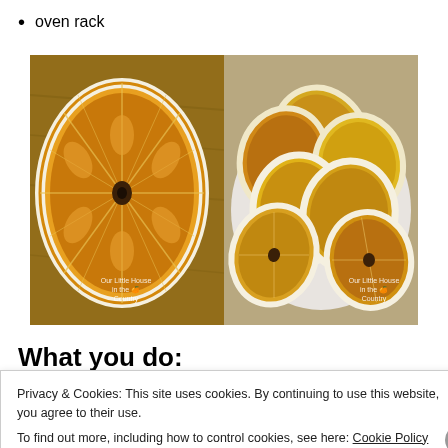oven rack
[Figure (photo): Two photos of dried orange slices side by side. Left photo shows a close-up of a single large dried orange slice on a wood surface with watermark 'Our Little House in the Country'. Right photo shows a pile of multiple dried orange/citrus slices on a white plate with the same watermark.]
What you do:
Privacy & Cookies: This site uses cookies. By continuing to use this website, you agree to their use.
To find out more, including how to control cookies, see here: Cookie Policy
Close and accept